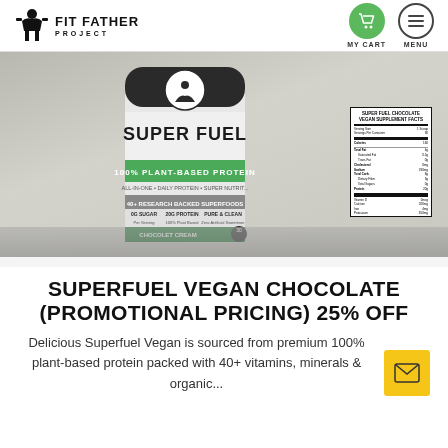FIT FATHER PROJECT | MY CART | MENU
[Figure (photo): SuperFuel 100% Plant-Based Protein tub in Chocolet Cream flavor, showing the front label with 40+ Research Backed Superfoods, 0G Sugar, 20G Protein, Pure & Clean. A nutrition facts label is shown on the right side.]
SUPERFUEL VEGAN CHOCOLATE (PROMOTIONAL PRICING) 25% OFF
Delicious Superfuel Vegan is sourced from premium 100% plant-based protein packed with 40+ vitamins, minerals & organic...